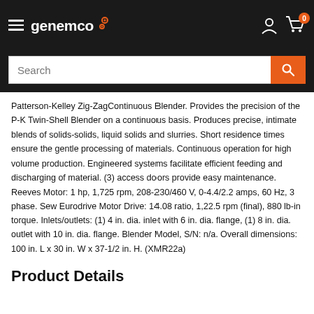genemco
Patterson-Kelley Zig-ZagContinuous Blender. Provides the precision of the P-K Twin-Shell Blender on a continuous basis. Produces precise, intimate blends of solids-solids, liquid solids and slurries. Short residence times ensure the gentle processing of materials. Continuous operation for high volume production. Engineered systems facilitate efficient feeding and discharging of material. (3) access doors provide easy maintenance. Reeves Motor: 1 hp, 1,725 rpm, 208-230/460 V, 0-4.4/2.2 amps, 60 Hz, 3 phase. Sew Eurodrive Motor Drive: 14.08 ratio, 1,22.5 rpm (final), 880 lb-in torque. Inlets/outlets: (1) 4 in. dia. inlet with 6 in. dia. flange, (1) 8 in. dia. outlet with 10 in. dia. flange. Blender Model, S/N: n/a. Overall dimensions: 100 in. L x 30 in. W x 37-1/2 in. H. (XMR22a)
Product Details